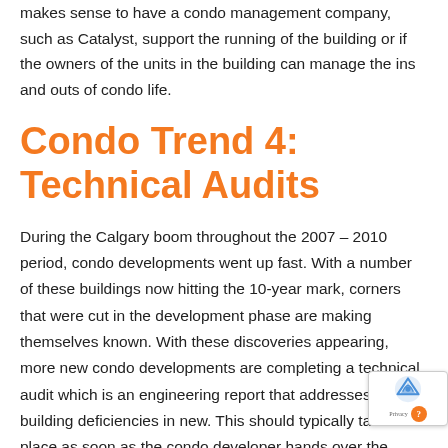makes sense to have a condo management company, such as Catalyst, support the running of the building or if the owners of the units in the building can manage the ins and outs of condo life.
Condo Trend 4: Technical Audits
During the Calgary boom throughout the 2007 – 2010 period, condo developments went up fast. With a number of these buildings now hitting the 10-year mark, corners that were cut in the development phase are making themselves known. With these discoveries appearing, more new condo developments are completing a technical audit which is an engineering report that addresses building deficiencies in new. This should typically take place as soon as the condo developer hands over the building to the condo board